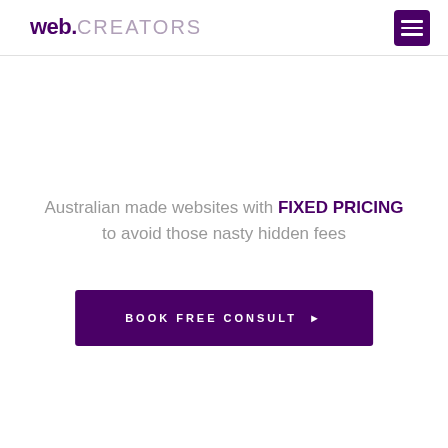web.CREATORS
Australian made websites with FIXED PRICING to avoid those nasty hidden fees
BOOK FREE CONSULT ▶